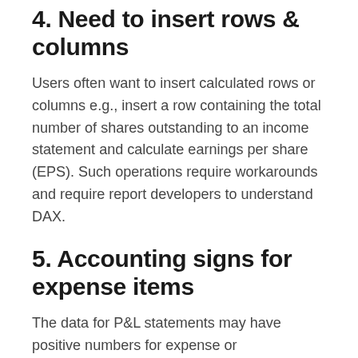4. Need to insert rows & columns
Users often want to insert calculated rows or columns e.g., insert a row containing the total number of shares outstanding to an income statement and calculate earnings per share (EPS). Such operations require workarounds and require report developers to understand DAX.
5. Accounting signs for expense items
The data for P&L statements may have positive numbers for expense or